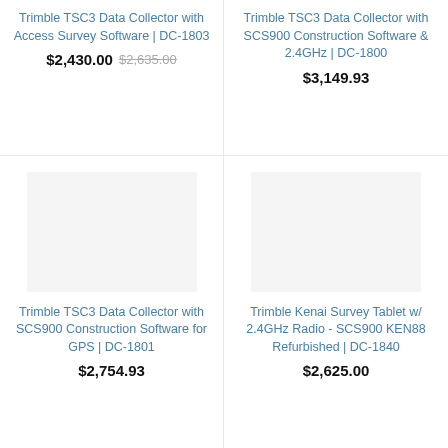Trimble TSC3 Data Collector with Access Survey Software | DC-1803
$2,430.00 $2,635.00
Trimble TSC3 Data Collector with SCS900 Construction Software & 2.4GHz | DC-1800
$3,149.93
[Figure (photo): Product image placeholder for Trimble TSC3 Data Collector with SCS900 Construction Software for GPS]
Trimble TSC3 Data Collector with SCS900 Construction Software for GPS | DC-1801
$2,754.93
[Figure (photo): Product image placeholder for Trimble Kenai Survey Tablet]
Trimble Kenai Survey Tablet w/ 2.4GHz Radio - SCS900 KEN88 Refurbished | DC-1840
$2,625.00